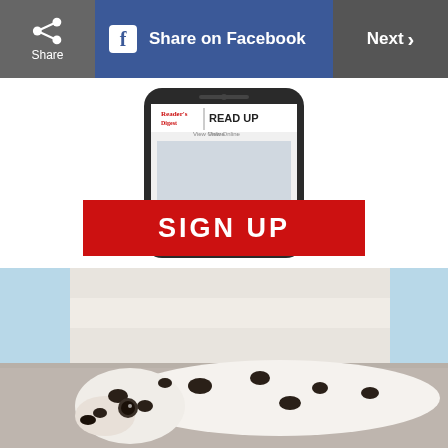Share | Share on Facebook | Next >
[Figure (screenshot): Reader's Digest READ UP app promo on a smartphone with SIGN UP button]
[Figure (photo): Dalmatian dog lying on a shaggy carpet in front of a white sofa]